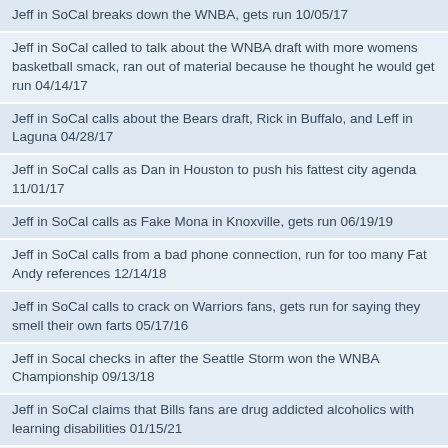Jeff in SoCal breaks down the WNBA, gets run 10/05/17
Jeff in SoCal called to talk about the WNBA draft with more womens basketball smack, ran out of material because he thought he would get run 04/14/17
Jeff in SoCal calls about the Bears draft, Rick in Buffalo, and Leff in Laguna 04/28/17
Jeff in SoCal calls as Dan in Houston to push his fattest city agenda 11/01/17
Jeff in SoCal calls as Fake Mona in Knoxville, gets run 06/19/19
Jeff in SoCal calls from a bad phone connection, run for too many Fat Andy references 12/14/18
Jeff in SoCal calls to crack on Warriors fans, gets run for saying they smell their own farts 05/17/16
Jeff in Socal checks in after the Seattle Storm won the WNBA Championship 09/13/18
Jeff in SoCal claims that Bills fans are drug addicted alcoholics with learning disabilities 01/15/21
Jeff in Socal compares the McGregor Mayweather fight to other sports competing against each other 08/22/17
Jeff in SoCal gets choppered for a Kellen Winslow - Mona blast 06/14/19
Jeff in SoCal gets on the Smackoff watchlist for taking another run at Nooch 05/15/19
Jeff in Socal gets run for Popovich face smack 05/10/17
Jeff in SoCal gets run for saying that Rex in ABQ is leaking oil in his tighty whities 06/22/18